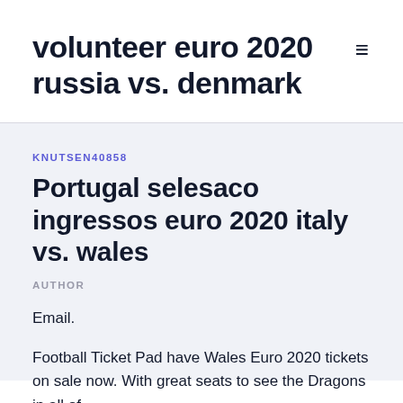volunteer euro 2020 russia vs. denmark
KNUTSEN40858
Portugal selesaco ingressos euro 2020 italy vs. wales
AUTHOR
Email.
Football Ticket Pad have Wales Euro 2020 tickets on sale now. With great seats to see the Dragons in all of